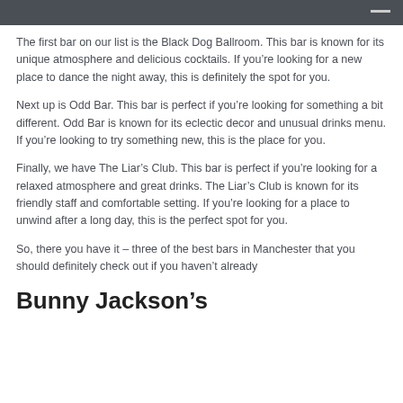The first bar on our list is the Black Dog Ballroom. This bar is known for its unique atmosphere and delicious cocktails. If you’re looking for a new place to dance the night away, this is definitely the spot for you.
Next up is Odd Bar. This bar is perfect if you’re looking for something a bit different. Odd Bar is known for its eclectic decor and unusual drinks menu. If you’re looking to try something new, this is the place for you.
Finally, we have The Liar’s Club. This bar is perfect if you’re looking for a relaxed atmosphere and great drinks. The Liar’s Club is known for its friendly staff and comfortable setting. If you’re looking for a place to unwind after a long day, this is the perfect spot for you.
So, there you have it – three of the best bars in Manchester that you should definitely check out if you haven’t already
Bunny Jackson’s